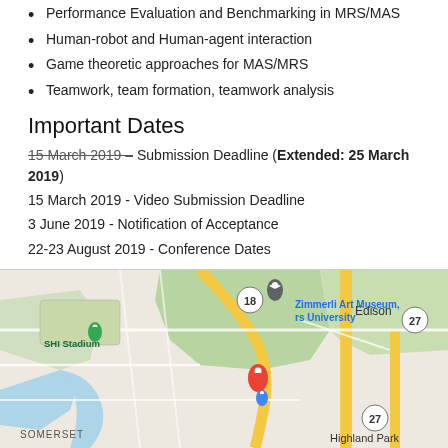Performance Evaluation and Benchmarking in MRS/MAS
Human-robot and Human-agent interaction
Game theoretic approaches for MAS/MRS
Teamwork, team formation, teamwork analysis
Important Dates
15 March 2019 – Submission Deadline (Extended: 25 March 2019)
15 March 2019 - Video Submission Deadline
3 June 2019 - Notification of Acceptance
22-23 August 2019 - Conference Dates
For more information, go to https://robotics.cs.rutgers.edu/mrs2019/
Technical co-Sponsorship by IEEE RAS
[Figure (map): Google Maps screenshot showing the area around Rutgers University, with markers for Zimmerli Art Museum / Rutgers University (red pin), SHI Stadium (green pin), Edison, Highland Park, Somerset, and route 27 and 18 labeled.]